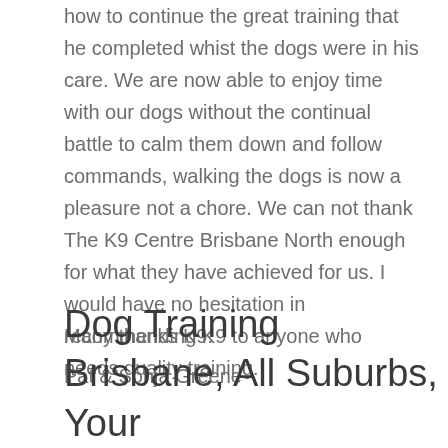how to continue the great training that he completed whist the dogs were in his care. We are now able to enjoy time with our dogs without the continual battle to calm them down and follow commands, walking the dogs is now a pleasure not a chore. We can not thank The K9 Centre Brisbane North enough for what they have achieved for us. I would have no hesitation in recommending K9 to anyone who needs quality training.
Many thanks K9.
Pat & Sonja Greene
Dog Training Brisbane, All Suburbs, Your